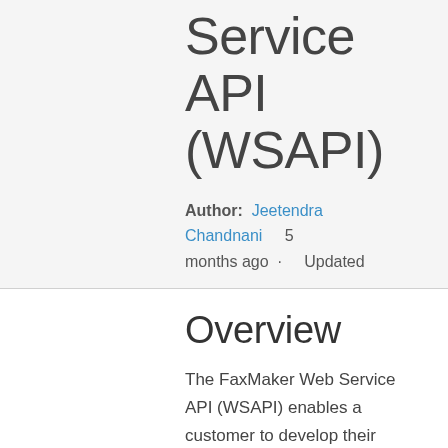Service API (WSAPI)
Author: Jeetendra Chandnani  5 months ago · Updated
Overview
The FaxMaker Web Service API (WSAPI) enables a customer to develop their applications that can connect and send/receive faxes via FaxMaker. This article explains how the WSAPI and the web client faxes flow once received by the FaxMaker server and what the